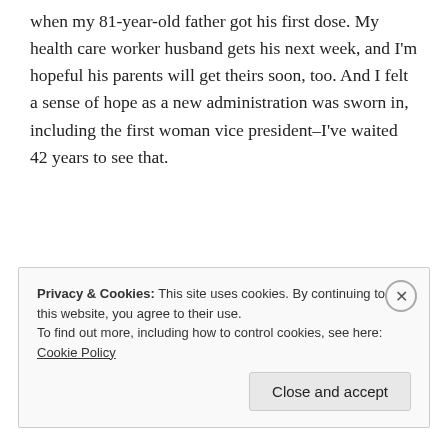when my 81-year-old father got his first dose. My health care worker husband gets his next week, and I'm hopeful his parents will get theirs soon, too. And I felt a sense of hope as a new administration was sworn in, including the first woman vice president–I've waited 42 years to see that.
Privacy & Cookies: This site uses cookies. By continuing to use this website, you agree to their use.
To find out more, including how to control cookies, see here: Cookie Policy
Close and accept